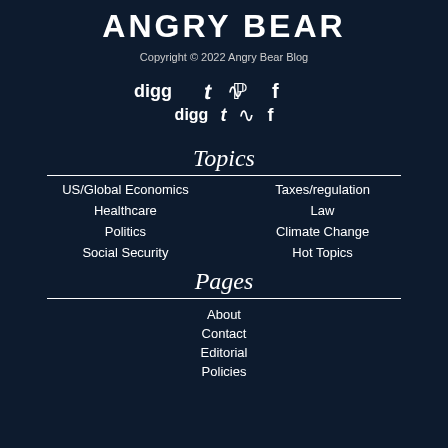ANGRY BEAR
Copyright © 2022 Angry Bear Blog
[Figure (other): Social media icons: digg, Twitter (t), RSS, Facebook (f)]
Topics
US/Global Economics
Taxes/regulation
Healthcare
Law
Politics
Climate Change
Social Security
Hot Topics
Pages
About
Contact
Editorial
Policies